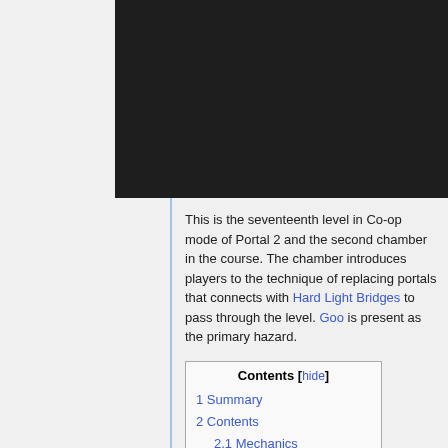[Figure (photo): Dark/black screenshot from Portal 2 Co-op mode showing a game environment]
This is the seventeenth level in Co-op mode of Portal 2 and the second chamber in the course. The chamber introduces players to the technique of replacing portals that connects with Hard Light Bridges to pass through the level. Goo is present as the primary hazard.
| Contents |
| --- |
| 1 Summary |
| 2 Contents |
| 2.1 Mechanics |